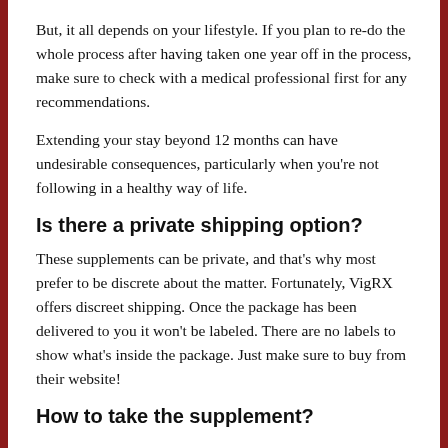But, it all depends on your lifestyle. If you plan to re-do the whole process after having taken one year off in the process, make sure to check with a medical professional first for any recommendations.
Extending your stay beyond 12 months can have undesirable consequences, particularly when you're not following in a healthy way of life.
Is there a private shipping option?
These supplements can be private, and that's why most prefer to be discrete about the matter. Fortunately, VigRX offers discreet shipping. Once the package has been delivered to you it won't be labeled. There are no labels to show what's inside the package. Just make sure to buy from their website!
How to take the supplement?